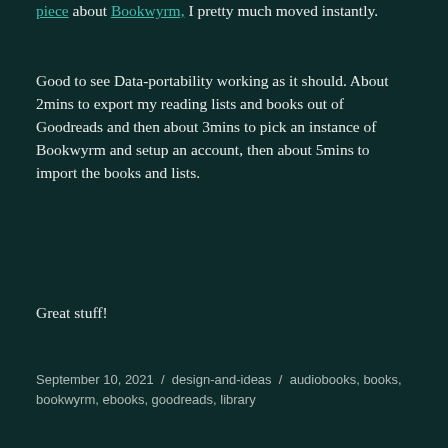piece about Bookwyrm, I pretty much moved instantly.
Good to see Data-portability working as it should. About 2mins to export my reading lists and books out of Goodreads and then about 3mins to pick an instance of Bookwyrm and setup an account, then about 5mins to import the books and lists.
Great stuff!
September 10, 2021 / design-and-ideas / audiobooks, books, bookwyrm, ebooks, goodreads, library